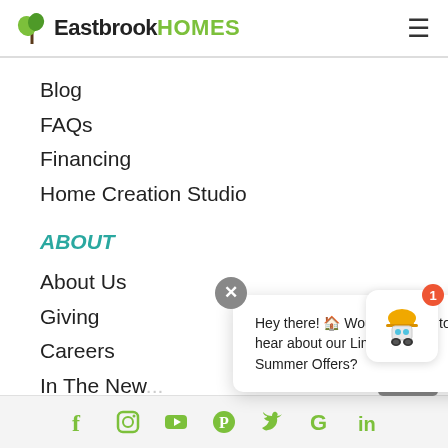Eastbrook HOMES
Blog
FAQs
Financing
Home Creation Studio
ABOUT
About Us
Giving
Careers
In The New...
Testimonia...
Hey there! 🏠 Would you like to hear about our Limited Time Summer Offers?
[Figure (illustration): Robot chat widget with notification badge showing 1]
Social media icons: Facebook, Instagram, YouTube, Pinterest, Twitter, Google, LinkedIn